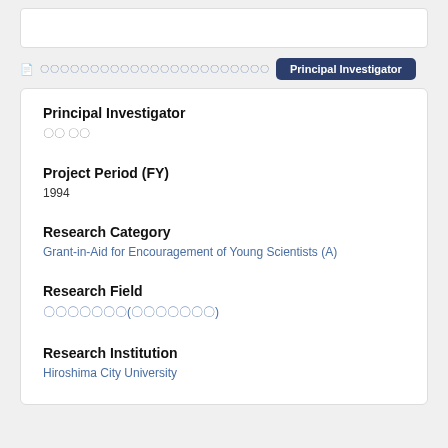Principal Investigator
〇〇 〇〇
Project Period (FY)
1994
Research Category
Grant-in-Aid for Encouragement of Young Scientists (A)
Research Field
〇〇〇〇〇〇〇(〇〇〇〇〇〇〇)
Research Institution
Hiroshima City University